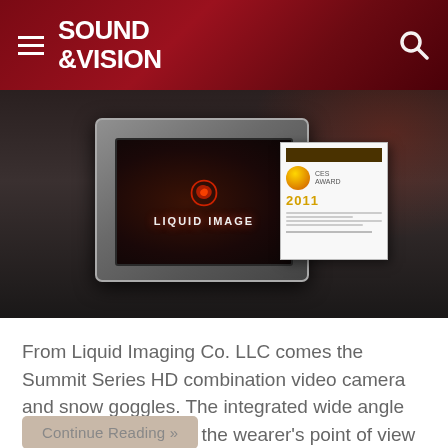SOUND &VISION
[Figure (photo): Photo of a Liquid Image branded tablet/display device in a glass case, with an award card showing '2011' visible to the right.]
From Liquid Imaging Co. LLC comes the Summit Series HD combination video camera and snow goggles. The integrated wide angle HD camera captures the wearer's point of view while the skier is shushing down the slopes!
Continue Reading »